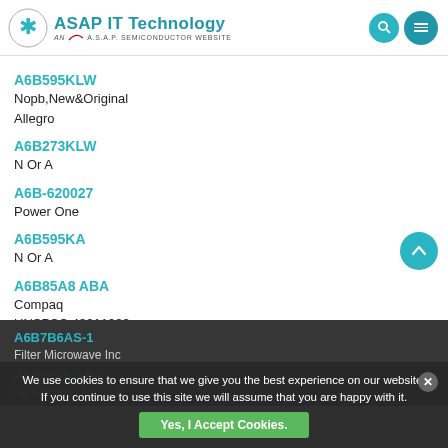ASAP IT Technology — AN A.S.A.P. SEMICONDUCTOR WEBSITE
A6B595KLW
Nopb,New&Original
Allegro
A6B273KLW
N Or A
A6B-620027
Power One
A6B595KA
N Or A
A6B85A8 ABA
Compaq
UNSPSC 43211902
A6B7B6AS-1
Filter Microwave Inc
A6B85A8 ABA
We use cookies to ensure that we give you the best experience on our website. If you continue to use this site we will assume that you are happy with it.
Yes, I Accept Cookies.